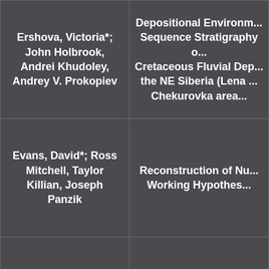| Authors | Title |
| --- | --- |
| Ershova, Victoria*; John Holbrook, Andrei Khudoley, Andrey V. Prokopiev | Depositional Environment Sequence Stratigraphy of Cretaceous Fluvial Depo... the NE Siberia (Lena... Chekurovka area... |
| Evans, David*; Ross Mitchell, Taylor Killian, Joseph Panzik | Reconstruction of Nu... Working Hypothes... |
| Evans-Tokaryk, Kerry*; F. Grant Ferris | Biogeochemical Defluo... |
|  | Folding and Faultin... Pat... |